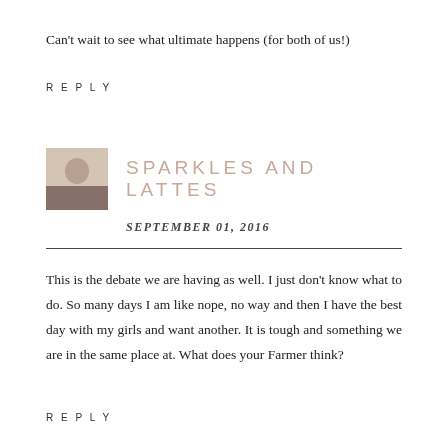Can't wait to see what ultimate happens (for both of us!)
REPLY
SPARKLES AND LATTES
SEPTEMBER 01, 2016
This is the debate we are having as well. I just don't know what to do. So many days I am like nope, no way and then I have the best day with my girls and want another. It is tough and something we are in the same place at. What does your Farmer think?
REPLY